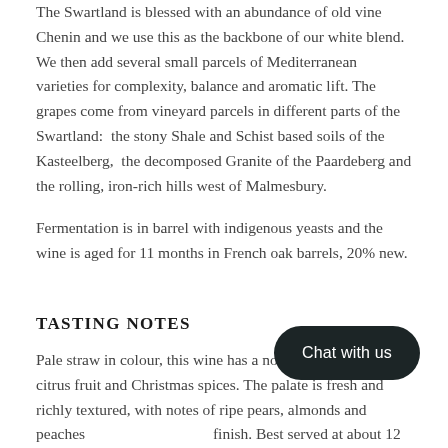The Swartland is blessed with an abundance of old vine Chenin and we use this as the backbone of our white blend. We then add several small parcels of Mediterranean varieties for complexity, balance and aromatic lift. The grapes come from vineyard parcels in different parts of the Swartland: the stony Shale and Schist based soils of the Kasteelberg, the decomposed Granite of the Paardeberg and the rolling, iron-rich hills west of Malmesbury.
Fermentation is in barrel with indigenous yeasts and the wine is aged for 11 months in French oak barrels, 20% new.
TASTING NOTES
Pale straw in colour, this wine has a nose of ripe, green citrus fruit and Christmas spices. The palate is fresh and richly textured, with notes of ripe pears, almonds and peaches... finish. Best served at about 12 °C, this wine... when decanted in the first 3 years after bot...
ACCOLADES